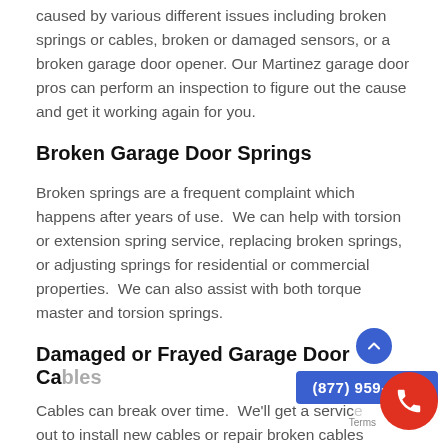caused by various different issues including broken springs or cables, broken or damaged sensors, or a broken garage door opener. Our Martinez garage door pros can perform an inspection to figure out the cause and get it working again for you.
Broken Garage Door Springs
Broken springs are a frequent complaint which happens after years of use.  We can help with torsion or extension spring service, replacing broken springs, or adjusting springs for residential or commercial properties.  We can also assist with both torque master and torsion springs.
Damaged or Frayed Garage Door Cables
Cables can break over time.  We'll get a service out to install new cables or repair broken cables